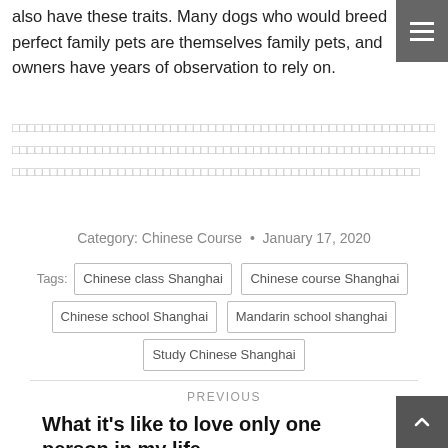also have these traits. Many dogs who would breed perfect family pets are themselves family pets, and owners have years of observation to rely on.
□□□□□□□□□□□□□□□□□□□□□□□□□□□□□□□□□□□□□□□□□□□□□□□□□□□□□□□□□□□□□□□□□□□□□□□□□□□□□□□□□□□□□□□□□□□□□□□□□□□□□□□□□□□□□□□□□□□□□□□□□□□□□□□□□□□□□□□□□□□□□□□□□□□□□□□□□□□□□□□□□□□□□□□□
Category: Chinese Course • January 17, 2020
Tags: Chinese class Shanghai  Chinese course Shanghai  Chinese school Shanghai  Mandarin school shanghai  Study Chinese Shanghai
PREVIOUS
What it's like to love only one person in my life